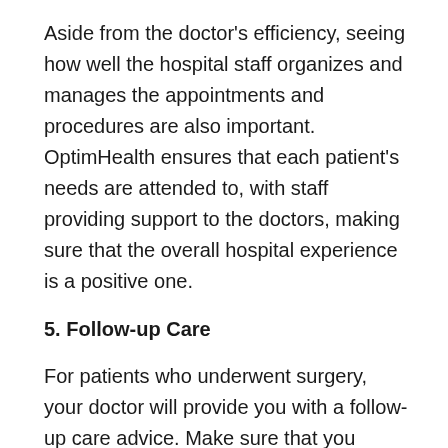Aside from the doctor's efficiency, seeing how well the hospital staff organizes and manages the appointments and procedures are also important. OptimHealth ensures that each patient's needs are attended to, with staff providing support to the doctors, making sure that the overall hospital experience is a positive one.
5. Follow-up Care
For patients who underwent surgery, your doctor will provide you with a follow-up care advice. Make sure that you follow your doctor's advice accordingly, keep your appointments, and be communicative with your doctor or by calling the nurse's line if you're experiencing any issue or to